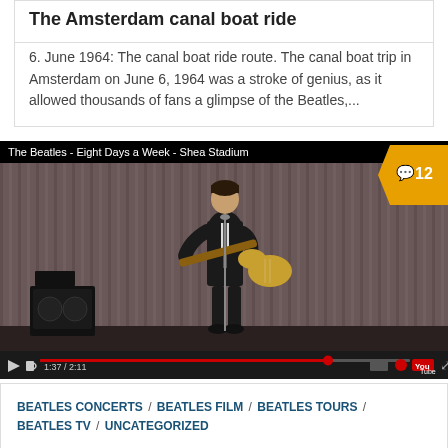The Amsterdam canal boat ride
6. June 1964: The canal boat ride route. The canal boat trip in Amsterdam on June 6, 1964 was a stroke of genius, as it allowed thousands of fans a glimpse of the Beatles,...
[Figure (screenshot): YouTube video player showing 'The Beatles - Eight Days a Week - Shea Stadium'. A Beatle is shown playing guitar on stage with a curtain backdrop and amplifier. Video controls show time 1:37 / 2:11. A comment badge showing '12' is visible in the top right corner.]
BEATLES CONCERTS / BEATLES FILM / BEATLES TOURS / BEATLES TV / UNCATEGORIZED